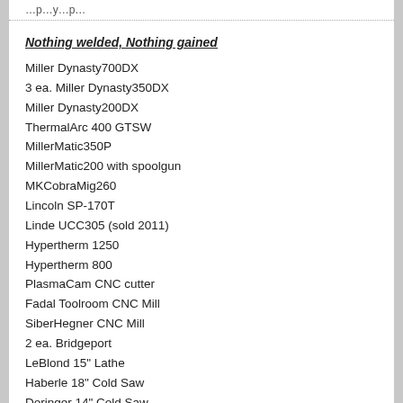Nothing welded, Nothing gained
Miller Dynasty700DX
3 ea. Miller Dynasty350DX
Miller Dynasty200DX
ThermalArc 400 GTSW
MillerMatic350P
MillerMatic200 with spoolgun
MKCobraMig260
Lincoln SP-170T
Linde UCC305 (sold 2011)
Hypertherm 1250
Hypertherm 800
PlasmaCam CNC cutter
Fadal Toolroom CNC Mill
SiberHegner CNC Mill
2 ea. Bridgeport
LeBlond 15" Lathe
Haberle 18" Cold Saw
Doringer 14" Cold Saw
6 foot x 12 foot Mojave granite
shovelon
Senior Member